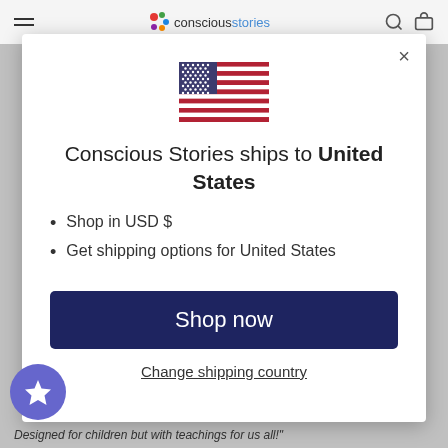conscious stories
[Figure (screenshot): US flag emoji/icon displayed in modal]
Conscious Stories ships to United States
Shop in USD $
Get shipping options for United States
Shop now
Change shipping country
Designed for children but with teachings for us all!"